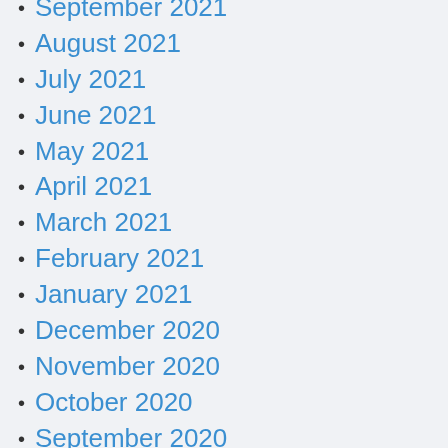September 2021
August 2021
July 2021
June 2021
May 2021
April 2021
March 2021
February 2021
January 2021
December 2020
November 2020
October 2020
September 2020
July 2020
June 2020
April 2020
March 2020
February 2020